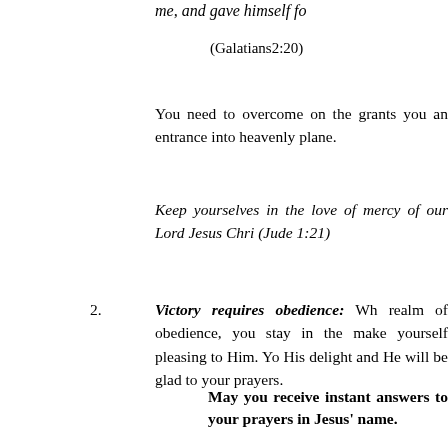me, and gave himself fo
(Galatians2:20)
You need to overcome on the grants you an entrance into heavenly plane.
Keep yourselves in the love of mercy of our Lord Jesus Chri (Jude 1:21)
2. Victory requires obedience: Wh realm of obedience, you stay in the make yourself pleasing to Him. Yo His delight and He will be glad to your prayers.
May you receive instant answers to your prayers in Jesus' name.